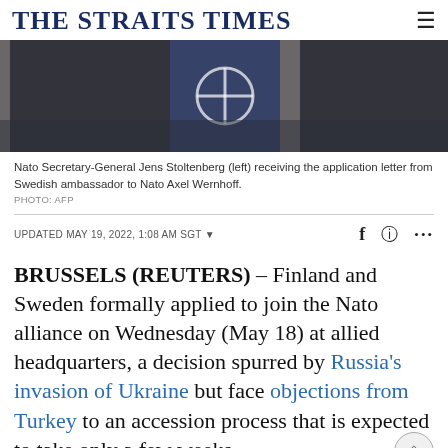THE STRAITS TIMES
[Figure (photo): Nato Secretary-General Jens Stoltenberg (left) receiving the application letter from Swedish ambassador to Nato Axel Wernhoff, standing in front of NATO flags.]
Nato Secretary-General Jens Stoltenberg (left) receiving the application letter from Swedish ambassador to Nato Axel Wernhoff.
PHOTO: AFP
UPDATED MAY 19, 2022, 1:08 AM SGT
BRUSSELS (REUTERS) – Finland and Sweden formally applied to join the Nato alliance on Wednesday (May 18) at allied headquarters, a decision spurred by Russia's invasion of Ukraine but face objections from Turkey to an accession process that is expected to take only a few weeks.